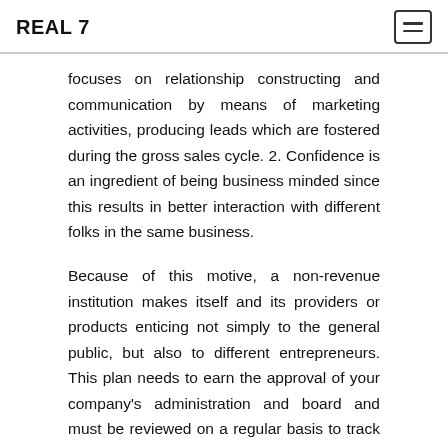REAL 7
focuses on relationship constructing and communication by means of marketing activities, producing leads which are fostered during the gross sales cycle. 2. Confidence is an ingredient of being business minded since this results in better interaction with different folks in the same business.
Because of this motive, a non-revenue institution makes itself and its providers or products enticing not simply to the general public, but also to different entrepreneurs. This plan needs to earn the approval of your company's administration and board and must be reviewed on a regular basis to track results and make refinements.